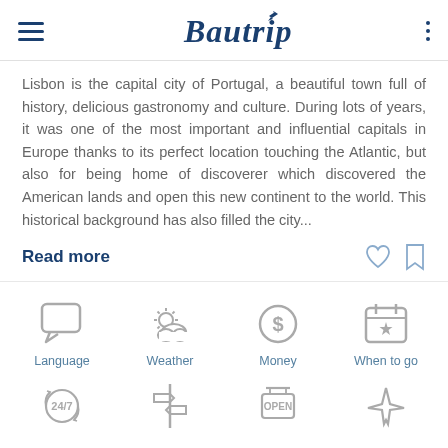Bautrip
Lisbon is the capital city of Portugal, a beautiful town full of history, delicious gastronomy and culture. During lots of years, it was one of the most important and influential capitals in Europe thanks to its perfect location touching the Atlantic, but also for being home of discoverer which discovered the American lands and open this new continent to the world. This historical background has also filled the city...
Read more
[Figure (infographic): Four icons in a row: Language (speech bubble), Weather (sun behind cloud), Money (dollar coin), When to go (calendar with star). Labels below each icon in blue.]
[Figure (infographic): Four icons in second row: 24/7 (clock with arrows), signpost/directions, Open sign, airplane.]